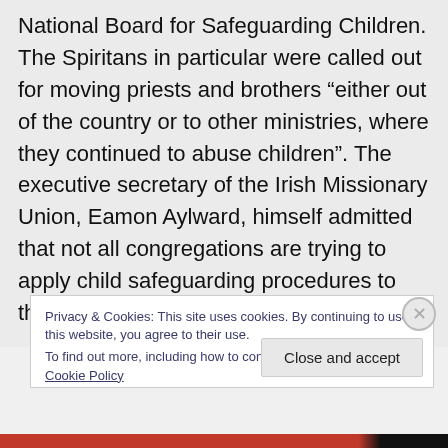National Board for Safeguarding Children. The Spiritans in particular were called out for moving priests and brothers “either out of the country or to other ministries, where they continued to abuse children”. The executive secretary of the Irish Missionary Union, Eamon Aylward, himself admitted that not all congregations are trying to apply child safeguarding procedures to their members overseas.
Privacy & Cookies: This site uses cookies. By continuing to use this website, you agree to their use.
To find out more, including how to control cookies, see here: Cookie Policy